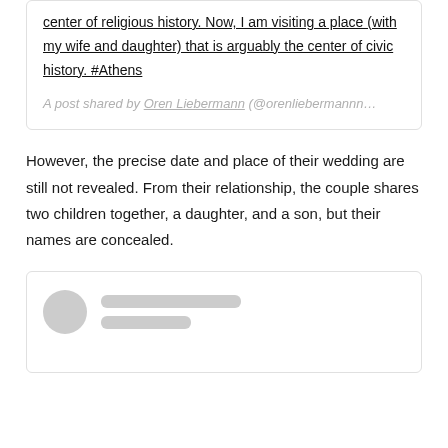center of religious history. Now, I am visiting a place (with my wife and daughter) that is arguably the center of civic history. #Athens
A post shared by Oren Liebermann (@orenliebermannn…
However, the precise date and place of their wedding are still not revealed. From their relationship, the couple shares two children together, a daughter, and a son, but their names are concealed.
[Figure (other): Social media post embed placeholder with skeleton loading UI: circular avatar placeholder and two rectangular line placeholders for username and handle]